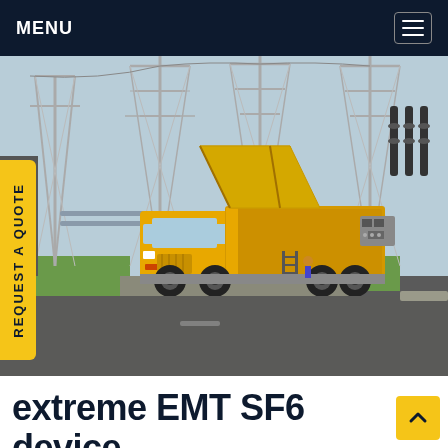MENU
[Figure (photo): A yellow EMT SF6 service truck parked at a high-voltage electrical substation with tall steel transmission towers and insulators in the background. The truck has a yellow canopy/awning extended and a metal ladder on the side.]
REQUEST A QUOTE
extreme EMT SF6 device